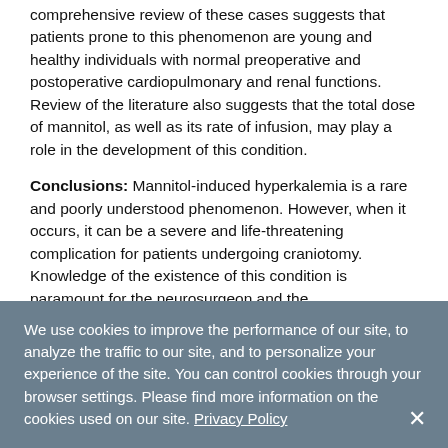comprehensive review of these cases suggests that patients prone to this phenomenon are young and healthy individuals with normal preoperative and postoperative cardiopulmonary and renal functions. Review of the literature also suggests that the total dose of mannitol, as well as its rate of infusion, may play a role in the development of this condition.
Conclusions: Mannitol-induced hyperkalemia is a rare and poorly understood phenomenon. However, when it occurs, it can be a severe and life-threatening complication for patients undergoing craniotomy. Knowledge of the existence of this condition is paramount for the neurosurgeon and the anesthesiologist, since early
We use cookies to improve the performance of our site, to analyze the traffic to our site, and to personalize your experience of the site. You can control cookies through your browser settings. Please find more information on the cookies used on our site. Privacy Policy